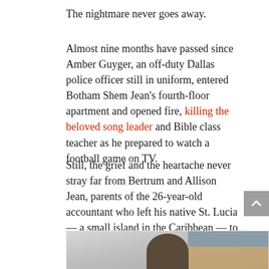The nightmare never goes away.
Almost nine months have passed since Amber Guyger, an off-duty Dallas police officer still in uniform, entered Botham Shem Jean's fourth-floor apartment and opened fire, killing the beloved song leader and Bible class teacher as he prepared to watch a football game on TV.
Still, the grief and the heartache never stray far from Bertrum and Allison Jean, parents of the 26-year-old accountant who left his native St. Lucia — a small island in the Caribbean — to attend Harding University in Searcy, Ark., and later worked for PricewaterhouseCoopers in Dallas.
[Figure (photo): Photo of a man (Botham Jean) at what appears to be a podium or stage setting, with wooden paneling visible in the background.]